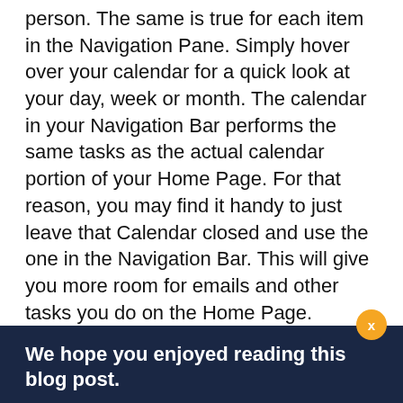person. The same is true for each item in the Navigation Pane. Simply hover over your calendar for a quick look at your day, week or month. The calendar in your Navigation Bar performs the same tasks as the actual calendar portion of your Home Page. For that reason, you may find it handy to just leave that Calendar closed and use the one in the Navigation Bar. This will give you more room for emails and other tasks you do on the Home Page.
We hope you enjoyed reading this blog post.
If you want our team at Centerpoint IT to help you with all or any part of your business IT, cybersecurity, or telephone services, just book a call.
BOOK A CALL
Real Person Online!